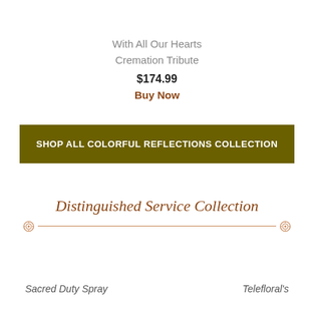With All Our Hearts Cremation Tribute
$174.99
Buy Now
SHOP ALL COLORFUL REFLECTIONS COLLECTION
Distinguished Service Collection
Sacred Duty Spray
Telefloral's